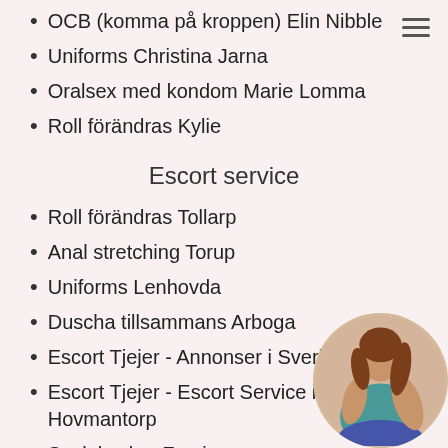OCB (komma på kroppen) Elin Nibble
Uniforms Christina Jarna
Oralsex med kondom Marie Lomma
Roll förändras Kylie
Escort service
Roll förändras Tollarp
Anal stretching Torup
Uniforms Lenhovda
Duscha tillsammans Arboga
Escort Tjejer - Annonser i Sverige Slite
Escort Tjejer - Escort Service i din stad Hovmantorp
Sexleksaker Frovi
Escort Tjejer - Escort Service i din stad Lvcka
[Figure (photo): Circular cropped photo of a woman in a teal top and jeans, positioned in the bottom-right corner of the page]